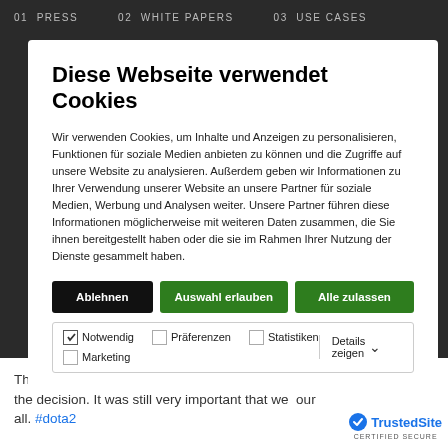01 PRESS   02 WHITE PAPERS   03 USE CASES
Diese Webseite verwendet Cookies
Wir verwenden Cookies, um Inhalte und Anzeigen zu personalisieren, Funktionen für soziale Medien anbieten zu können und die Zugriffe auf unsere Website zu analysieren. Außerdem geben wir Informationen zu Ihrer Verwendung unserer Website an unsere Partner für soziale Medien, Werbung und Analysen weiter. Unsere Partner führen diese Informationen möglicherweise mit weiteren Daten zusammen, die Sie ihnen bereitgestellt haben oder die sie im Rahmen Ihrer Nutzung der Dienste gesammelt haben.
Ablehnen
Auswahl erlauben
Alle zulassen
Notwendig  Präferenzen  Statistiken  Marketing  Details zeigen
Thank you to everyone that cared and tried to affect the decision. It was still very important that we our all. #dota2